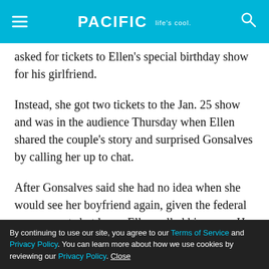PACIFIC Life's cool.
asked for tickets to Ellen's special birthday show for his girlfriend.
Instead, she got two tickets to the Jan. 25 show and was in the audience Thursday when Ellen shared the couple's story and surprised Gonsalves by calling her up to chat.
After Gonsalves said she had no idea when she would see her boyfriend again, given the federal government shutdown, Ellen called his name. He walked out on stage holding two tickets to Ellen's upcoming birthday show.
By continuing to use our site, you agree to our Terms of Service and Privacy Policy. You can learn more about how we use cookies by reviewing our Privacy Policy. Close